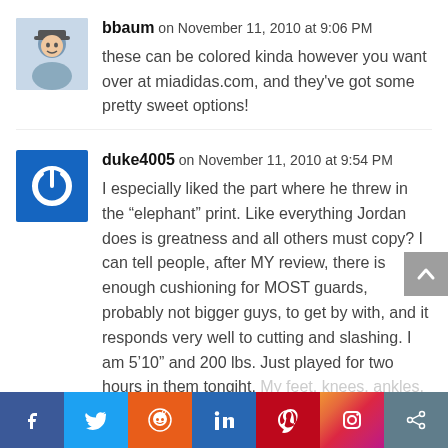bbaum on November 11, 2010 at 9:06 PM
these can be colored kinda however you want over at miadidas.com, and they've got some pretty sweet options!
duke4005 on November 11, 2010 at 9:54 PM
I especially liked the part where he threw in the “elephant” print. Like everything Jordan does is greatness and all others must copy? I can tell people, after MY review, there is enough cushioning for MOST guards, probably not bigger guys, to get by with, and it responds very well to cutting and slashing. I am 5’10” and 200 lbs. Just played for two hours in them tongiht. My feet, knees, ankles, lower back, etc all feel